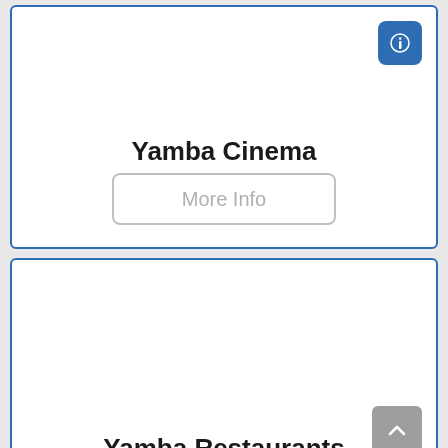Yamba Cinema
More Info
Yamba Restaurants